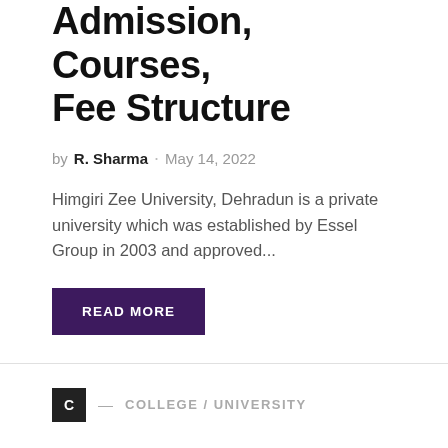Admission, Courses, Fee Structure
by R. Sharma · May 14, 2022
Himgiri Zee University, Dehradun is a private university which was established by Essel Group in 2003 and approved...
READ MORE
C — COLLEGE / UNIVERSITY
Tula's Institute Dehradun: Admission